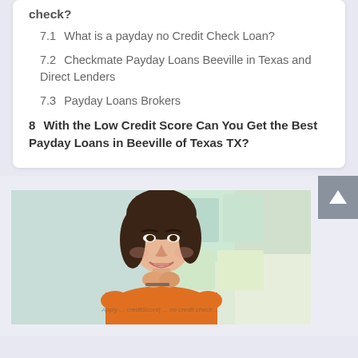check?
7.1  What is a payday no Credit Check Loan?
7.2  Checkmate Payday Loans Beeville in Texas and Direct Lenders
7.3  Payday Loans Brokers
8  With the Low Credit Score Can You Get the Best Payday Loans in Beeville of Texas TX?
[Figure (photo): Smiling young woman with dark hair wearing a yellow/orange top, holding glasses, with a blurred colorful background. Overlaid watermark text partially visible at bottom.]